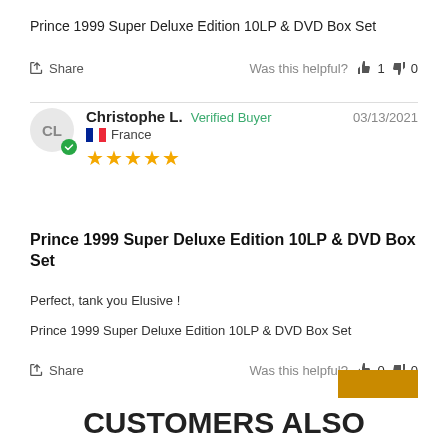Prince 1999 Super Deluxe Edition 10LP & DVD Box Set
Share
Was this helpful? 👍 1 👎 0
Christophe L.   Verified Buyer   03/13/2021
France
★★★★★
Prince 1999 Super Deluxe Edition 10LP & DVD Box Set
Perfect, tank you Elusive !
Prince 1999 Super Deluxe Edition 10LP & DVD Box Set
Share
Was this helpful? 👍 0 👎 0
CUSTOMERS ALSO